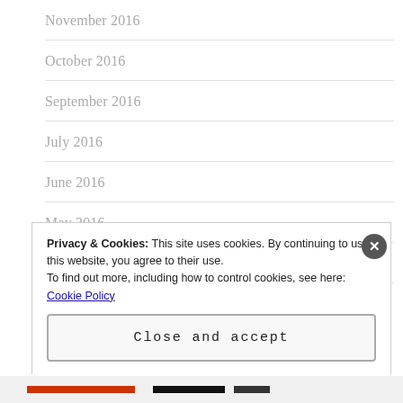November 2016
October 2016
September 2016
July 2016
June 2016
May 2016
April 2016
Privacy & Cookies: This site uses cookies. By continuing to use this website, you agree to their use.
To find out more, including how to control cookies, see here: Cookie Policy
Close and accept